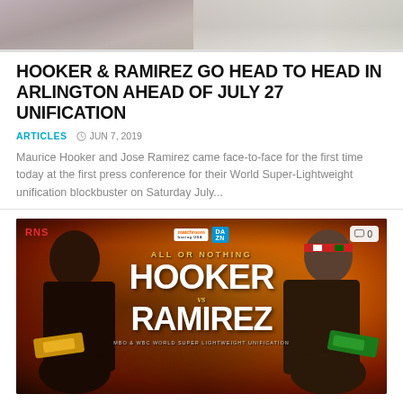[Figure (photo): Top portion of a photo showing two boxers or people at a press conference, partial view]
HOOKER & RAMIREZ GO HEAD TO HEAD IN ARLINGTON AHEAD OF JULY 27 UNIFICATION
ARTICLES  JUN 7, 2019
Maurice Hooker and Jose Ramirez came face-to-face for the first time today at the first press conference for their World Super-Lightweight unification blockbuster on Saturday July...
[Figure (photo): Hooker vs Ramirez fight promotional poster. Orange and red background with both boxers facing each other. Text reads: ALL OR NOTHING HOOKER vs RAMIREZ MBO & WBC WORLD SUPER LIGHTWEIGHT UNIFICATION. Logos for Matchroom Boxing and DAZN visible. RNS watermark in top left. Comment count badge showing 0 in top right.]